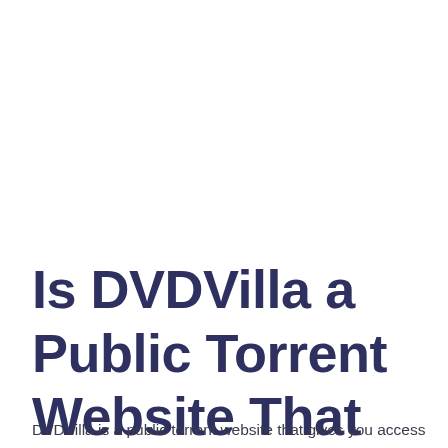Is DVDVilla a Public Torrent Website That Leaks Movies Online?
DVDVilla is a public torrent website that gives you access